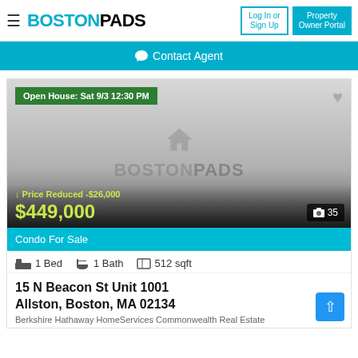BOSTONPADS — Log In or Sign Up | Property Owner Portal
Contact Agent
[Figure (screenshot): Property listing image placeholder with BOSTONPADS watermark, gradient background from light gray to dark]
Open House: Sat 9/3 12:30 PM
↓ Price Reduced -$26,000
$449,000
📷 35
Condo For Sale
1 Bed   1 Bath   512 sqft
15 N Beacon St Unit 1001
Allston, Boston, MA 02134
Berkshire Hathaway HomeServices Commonwealth Real Estate